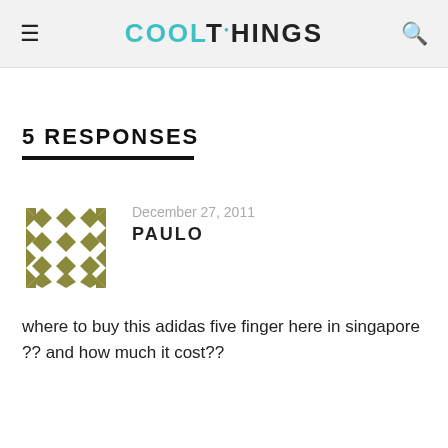COOLTHINGS
5 RESPONSES
December 27, 2011
PAULO
where to buy this adidas five finger here in singapore ?? and how much it cost??